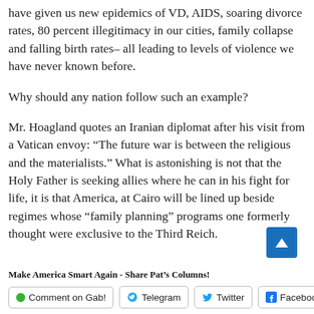have given us new epidemics of VD, AIDS, soaring divorce rates, 80 percent illegitimacy in our cities, family collapse and falling birth rates– all leading to levels of violence we have never known before.
Why should any nation follow such an example?
Mr. Hoagland quotes an Iranian diplomat after his visit from a Vatican envoy: “The future war is between the religious and the materialists.” What is astonishing is not that the Holy Father is seeking allies where he can in his fight for life, it is that America, at Cairo will be lined up beside regimes whose “family planning” programs one formerly thought were exclusive to the Third Reich.
Make America Smart Again - Share Pat's Columns!
[Figure (other): Back to top button (blue square with upward arrow)]
Comment on Gab! | Telegram | Twitter | Facebook